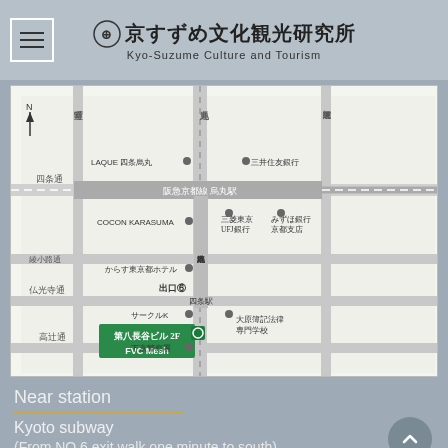京すずめ文化観光研究所 Kyo-Suzume Culture and Tourism
[Figure (map): Street map showing location of 第八長谷ビル 2F FVC Mesh near Kyoto subway Karasuma line Shijo station, with surrounding streets 室町通, 烏丸通, 東洞院通, 四条通, 綾小路通, 仏光寺通, 高辻通 and landmarks including LAQUE四条烏丸, 三井住友銀行, COCON KARASUMA, 三菱東京UFJ銀行, みずほ銀行京都支店, からす東京都ホテル, 出口⑥, サークルK, 大原簿記法律専門学校, 下京警察署]
Near station
Kyoto subway
(From NO.6 exit walk one minute to south)